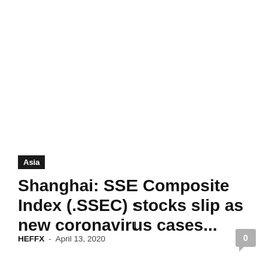Asia
Shanghai: SSE Composite Index (.SSEC) stocks slip as new coronavirus cases...
HEFFX  -  April 13, 2020